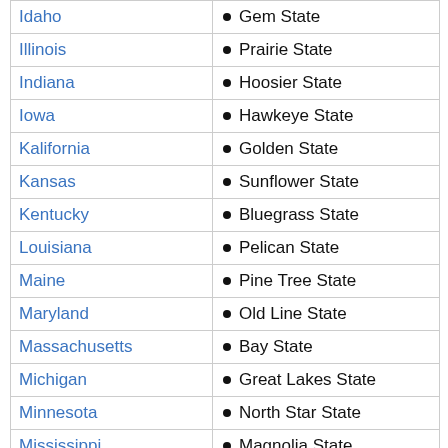| State | Nickname |
| --- | --- |
| Idaho | Gem State |
| Illinois | Prairie State |
| Indiana | Hoosier State |
| Iowa | Hawkeye State |
| Kalifornia | Golden State |
| Kansas | Sunflower State |
| Kentucky | Bluegrass State |
| Louisiana | Pelican State |
| Maine | Pine Tree State |
| Maryland | Old Line State |
| Massachusetts | Bay State |
| Michigan | Great Lakes State |
| Minnesota | North Star State |
| Mississippi | Magnolia State |